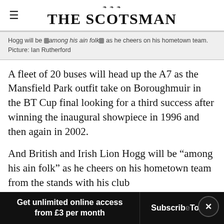THE SCOTSMAN
Hogg will be ×among his ain folk× as he cheers on his hometown team. Picture: Ian Rutherford
A fleet of 20 buses will head up the A7 as the Mansfield Park outfit take on Boroughmuir in the BT Cup final looking for a third success after winning the inaugural showpiece in 1996 and then again in 2002.
And British and Irish Lion Hogg will be “among his ain folk” as he cheers on his hometown team from the stands with his club
Get unlimited online access from £3 per month | Subscribe Today